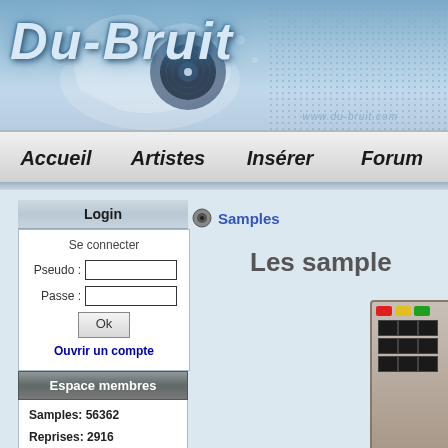[Figure (screenshot): Du-Bruit website header banner with logo text, paint splash graphic, turntable, and URL www.du-bruit.com]
Accueil   Artistes   Insérer   Forum
Login
Se connecter
Pseudo :
Passe :
Ok
Ouvrir un compte
Espace membres
Samples: 56362
Reprises: 2916
Samples
Les sample